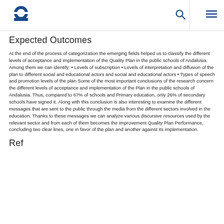e [logo] [search icon] [menu icon]
Expected Outcomes
At the end of the process of categorization the emerging fields helped us to classify the different levels of acceptance and implementation of the Quality Plan in the public schools of Andalusia. Among them we can identify: • Levels of subscription • Levels of interpretation and diffusion of the plan to different social and educational actors and social and educational actors • Types of speech and promotion levels of the plan Some of the most important conclusions of the research concern the different levels of acceptance and implementation of the Plan in the public schools of Andalusia. Thus, compared to 67% of schools and Primary education, only 26% of secondary schools have signed it. Along with this conclusion is also interesting to examine the different messages that are sent to the public through the media from the different sectors involved in the education. Thanks to these messages we can analyze various discursive resources used by the relevant sector and from each of them becomes the Improvement Quality Plan Performance, concluding two clear lines, one in favor of the plan and another against its implementation.
Ref